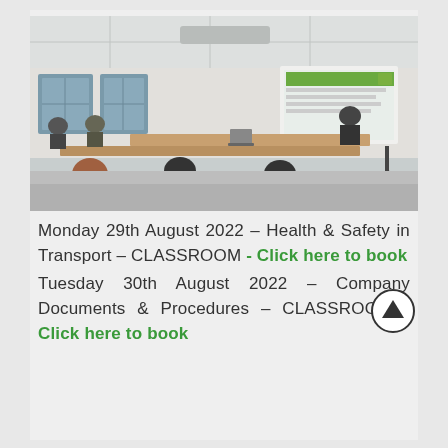[Figure (photo): Photograph of a classroom training session with people seated around tables facing a projected presentation screen at the front of the room.]
Monday 29th August 2022 – Health & Safety in Transport – CLASSROOM - Click here to book
Tuesday 30th August 2022 – Company Documents & Procedures – CLASSROOM - Click here to book